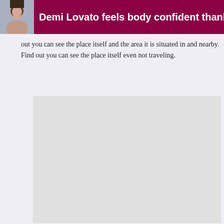Demi Lovato feels body confident thank
out you can see the place itself and the area it is situated in and nearby. Find out you can see the place itself even not traveling.
[Figure (photo): Large light gray placeholder image block]